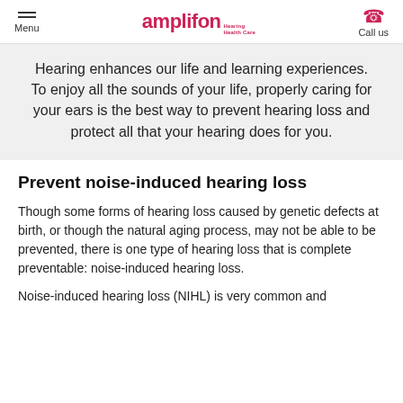Menu | amplifon Hearing Health Care | Call us
Hearing enhances our life and learning experiences. To enjoy all the sounds of your life, properly caring for your ears is the best way to prevent hearing loss and protect all that your hearing does for you.
Prevent noise-induced hearing loss
Though some forms of hearing loss caused by genetic defects at birth, or though the natural aging process, may not be able to be prevented, there is one type of hearing loss that is complete preventable: noise-induced hearing loss.
Noise-induced hearing loss (NIHL) is very common and